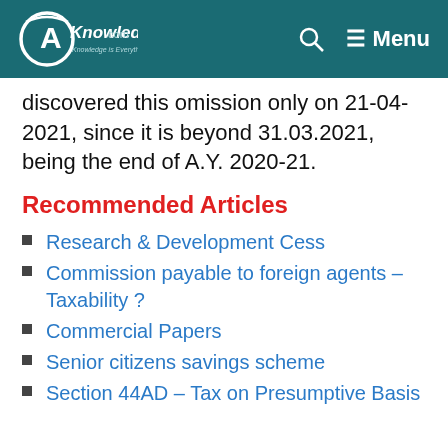CAknowledge.com | Menu
discovered this omission only on 21-04-2021, since it is beyond 31.03.2021, being the end of A.Y. 2020-21.
Recommended Articles
Research & Development Cess
Commission payable to foreign agents – Taxability ?
Commercial Papers
Senior citizens savings scheme
Section 44AD – Tax on Presumptive Basis